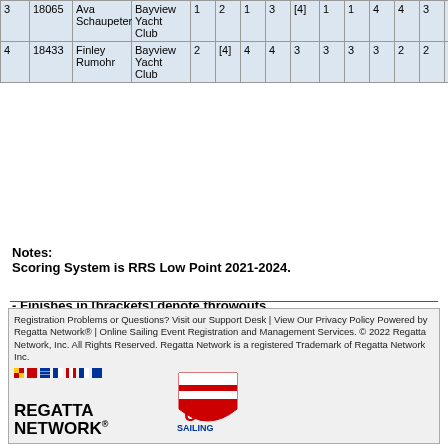| Pos | Sail | Name | Club | R1 | R2 | R3 | R4 | R5 | R6 | R7 | R8 | R9 | R10 | R11 | R12 | Total |
| --- | --- | --- | --- | --- | --- | --- | --- | --- | --- | --- | --- | --- | --- | --- | --- | --- |
| 3 | 18065 | Ava Schaupeter | Bayview Yacht Club | 1 | 2 | 1 | 3 | [4] | 1 | 1 | 4 | 4 | 3 | 4 | 4 | 3 |
| 4 | 18433 | Finley Rumohr | Bayview Yacht Club | 2 | [4] | 4 | 4 | 3 | 3 | 3 | 3 | 2 | 2 | 2 | 3 | 1 |
Notes:
Scoring System is RRS Low Point 2021-2024.

- Finishes in [brackets] denote throwouts
- Click on race number to view detailed race information.

Information is final.
Registration Problems or Questions? Visit our Support Desk | View Our Privacy Policy
Powered by Regatta Network® | Online Sailing Event Registration and Management Services.
© 2022 Regatta Network, Inc. All Rights Reserved. Regatta Network is a registered Trademark of Regatta Network Inc.